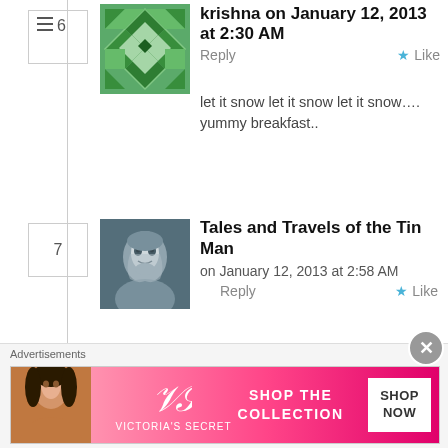6
[Figure (illustration): Green quilt/diamond pattern avatar for 'krishna']
krishna on January 12, 2013 at 2:30 AM  Reply  ★ Like
let it snow let it snow let it snow…. yummy breakfast..
7
[Figure (photo): Avatar photo showing a face for 'Tales and Travels of the Tin Man']
Tales and Travels of the Tin Man on January 12, 2013 at 2:58 AM  Reply  ★ Like
The kids looked like they had a WONDERFUL time. I say let them go out and play, I will stay in and eat those marvelous baked eggs! I have been waiting for this post since you teased us with it earlier. My first day off, you can
Advertisements
[Figure (infographic): Victoria's Secret advertisement banner: SHOP THE COLLECTION / SHOP NOW]